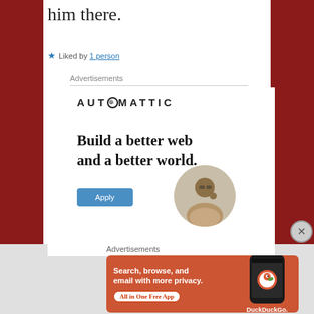him there.
★ Liked by 1 person
Advertisements
[Figure (other): Automattic advertisement: 'Build a better web and a better world.' with Apply button and person photo]
Advertisements
[Figure (other): DuckDuckGo advertisement: 'Search, browse, and email with more privacy. All in One Free App' with phone image and DuckDuckGo logo]